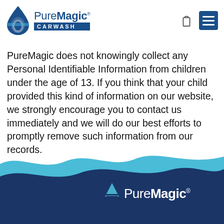PureMagic CARWASH
PureMagic does not knowingly collect any Personal Identifiable Information from children under the age of 13. If you think that your child provided this kind of information on our website, we strongly encourage you to contact us immediately and we will do our best efforts to promptly remove such information from our records.
[Figure (logo): PureMagic logo with water drop icon and CARWASH banner in footer area]